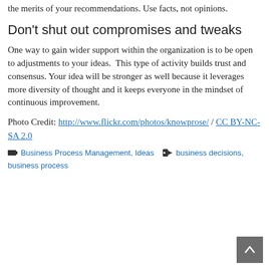the merits of your recommendations. Use facts, not opinions.
Don't shut out compromises and tweaks
One way to gain wider support within the organization is to be open to adjustments to your ideas.  This type of activity builds trust and consensus. Your idea will be stronger as well because it leverages more diversity of thought and it keeps everyone in the mindset of continuous improvement.
Photo Credit: http://www.flickr.com/photos/knowprose/ / CC BY-NC-SA 2.0
Business Process Management, Ideas   business decisions, business process